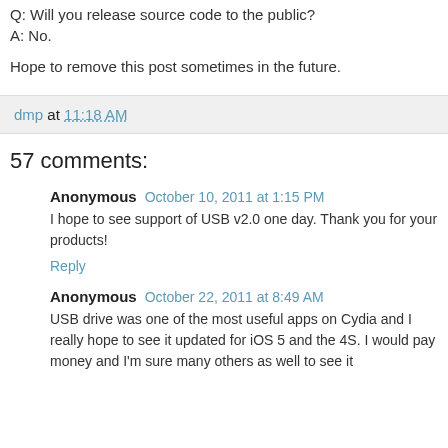Q: Will you release source code to the public?
A: No.
Hope to remove this post sometimes in the future.
dmp at 11:18 AM
57 comments:
Anonymous October 10, 2011 at 1:15 PM
I hope to see support of USB v2.0 one day. Thank you for your products!
Reply
Anonymous October 22, 2011 at 8:49 AM
USB drive was one of the most useful apps on Cydia and I really hope to see it updated for iOS 5 and the 4S. I would pay money and I'm sure many others as well to see it